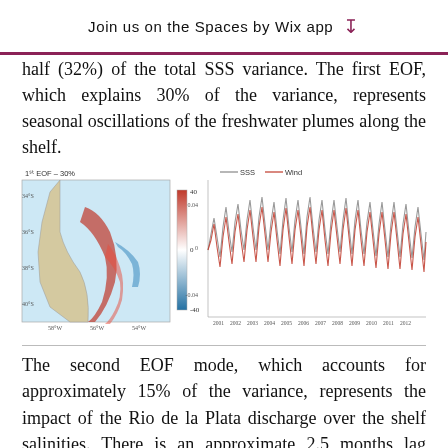Join us on the Spaces by Wix app ↓
half (32%) of the total SSS variance. The first EOF, which explains 30% of the variance, represents seasonal oscillations of the freshwater plumes along the shelf.
[Figure (continuous-plot): Scientific figure showing (left) a geographic map with colored SSS EOF pattern along the South American shelf, with a color bar ranging from negative (blue) to positive (red) values; and (right) a time series chart from 2001 to 2012 showing SSS (gray) and Wind (orange/red) overlapping oscillating lines.]
The second EOF mode, which accounts for approximately 15% of the variance, represents the impact of the Rio de la Plata discharge over the shelf salinities. There is an approximate 2.5 months lag between the time